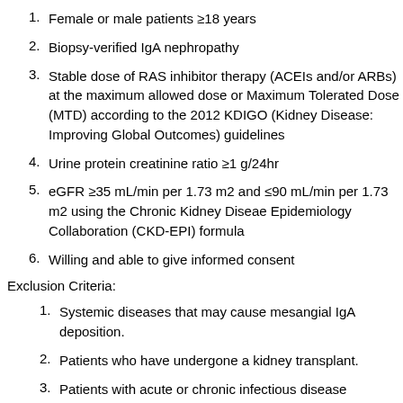1. Female or male patients ≥18 years
2. Biopsy-verified IgA nephropathy
3. Stable dose of RAS inhibitor therapy (ACEIs and/or ARBs) at the maximum allowed dose or Maximum Tolerated Dose (MTD) according to the 2012 KDIGO (Kidney Disease: Improving Global Outcomes) guidelines
4. Urine protein creatinine ratio ≥1 g/24hr
5. eGFR ≥35 mL/min per 1.73 m2 and ≤90 mL/min per 1.73 m2 using the Chronic Kidney Diseae Epidemiology Collaboration (CKD-EPI) formula
6. Willing and able to give informed consent
Exclusion Criteria:
1. Systemic diseases that may cause mesangial IgA deposition.
2. Patients who have undergone a kidney transplant.
3. Patients with acute or chronic infectious disease including